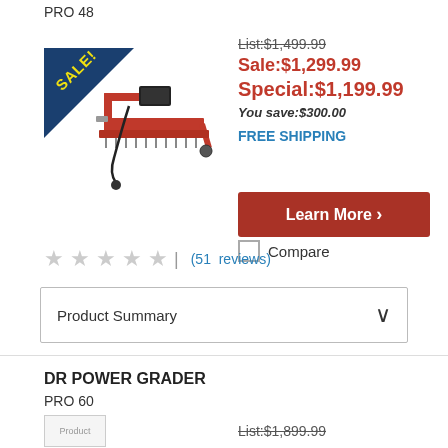PRO 48
[Figure (photo): Red DR Power Grader PRO 48 with SALE banner in blue triangle corner]
List:$1,499.99
Sale:$1,299.99
Special:$1,199.99
You save:$300.00
FREE SHIPPING
Learn More ›
Compare
★ ★ ★ ★ ★  |  (51  reviews)
Product Summary
DR POWER GRADER
PRO 60
[Figure (photo): Product image placeholder for DR Power Grader PRO 60]
List:$1,899.99